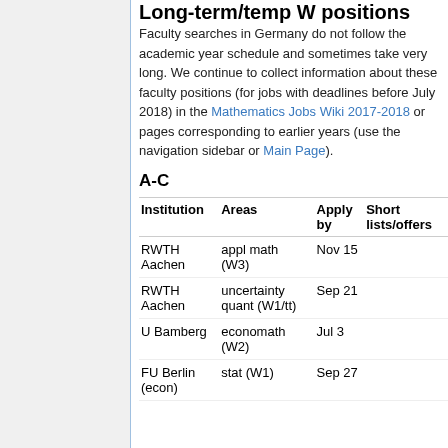Long-term/temp W positions
Faculty searches in Germany do not follow the academic year schedule and sometimes take very long. We continue to collect information about these faculty positions (for jobs with deadlines before July 2018) in the Mathematics Jobs Wiki 2017-2018 or pages corresponding to earlier years (use the navigation sidebar or Main Page).
A-C
| Institution | Areas | Apply by | Short lists/offers |
| --- | --- | --- | --- |
| RWTH Aachen | appl math (W3) | Nov 15 |  |
| RWTH Aachen | uncertainty quant (W1/tt) | Sep 21 |  |
| U Bamberg | economath (W2) | Jul 3 |  |
| FU Berlin (econ) | stat (W1) | Sep 27 |  |